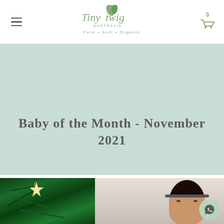Tiny Twig Australia – Pure • Soft • Organic
Baby of the Month - November 2021
[Figure (photo): Photo of a baby near a Christmas tree with star ornaments]